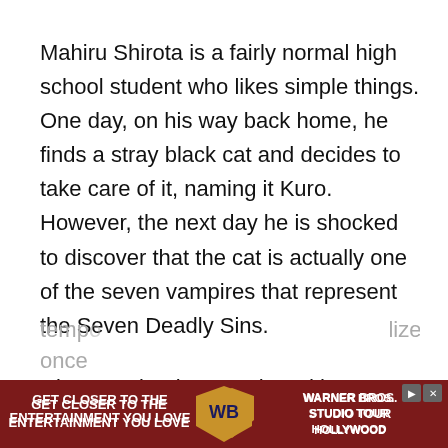Mahiru Shirota is a fairly normal high school student who likes simple things. One day, on his way back home, he finds a stray black cat and decides to take care of it, naming it Kuro. However, the next day he is shocked to discover that the cat is actually one of the seven vampires that represent the Seven Deadly Sins.
His name is Sleepy Ash and he represents sloth, but he turns into a cat when he is exposed to sunlight. By giving Sleepy Ash a name and a cat bell, and then calling him by his name, Mahiru accidentally forms a
tempo... lized once ...
[Figure (other): Warner Bros. Studio Tour Hollywood advertisement banner with dark red background, text 'GET CLOSER TO THE ENTERTAINMENT YOU LOVE', WB shield logo, and 'WARNER BROS. STUDIO TOUR HOLLYWOOD' text. Skip and close buttons visible.]